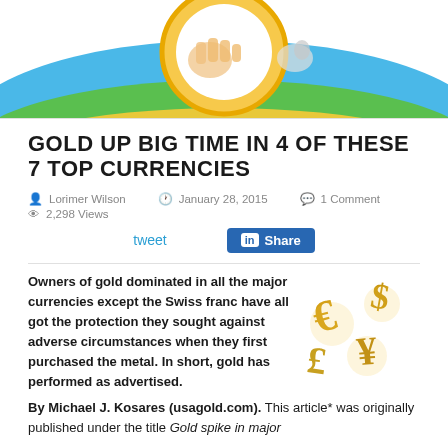[Figure (illustration): Top portion of decorative image showing coins/casino chip with green and yellow background]
GOLD UP BIG TIME IN 4 OF THESE 7 TOP CURRENCIES
Lorimer Wilson  January 28, 2015  1 Comment  2,298 Views
tweet  Share
Owners of gold dominated in all the major currencies except the Swiss franc have all got the protection they sought against adverse circumstances when they first purchased the metal.  In short, gold has performed as advertised.
[Figure (photo): Gold currency symbols (euro, dollar, yen, pound) as 3D gold objects]
By Michael J. Kosares (usagold.com). This article* was originally published under the title Gold spike in major